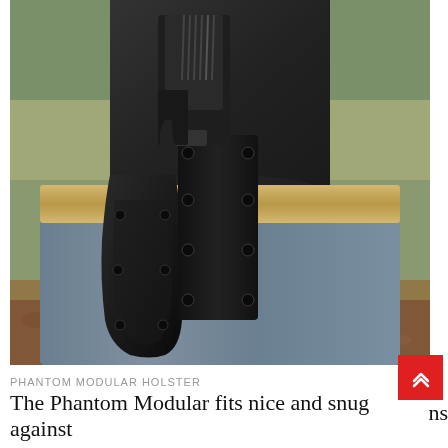[Figure (photo): Close-up photograph of a person wearing gray shorts and a black shirt, with a black Phantom Modular Holster holding a handgun on their right hip. The holster is mounted to a tan/khaki belt with multiple screws visible on the mounting plate. The background shows an outdoor setting with grass and fallen leaves.]
PHANTOM MODULAR HOLSTER
The Phantom Modular fits nice and snug against my back and feels great when I am walking or...